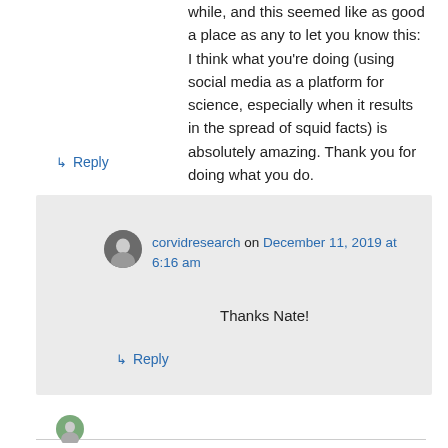while, and this seemed like as good a place as any to let you know this: I think what you're doing (using social media as a platform for science, especially when it results in the spread of squid facts) is absolutely amazing. Thank you for doing what you do.
↳ Reply
corvidresearch on December 11, 2019 at 6:16 am
Thanks Nate!
↳ Reply